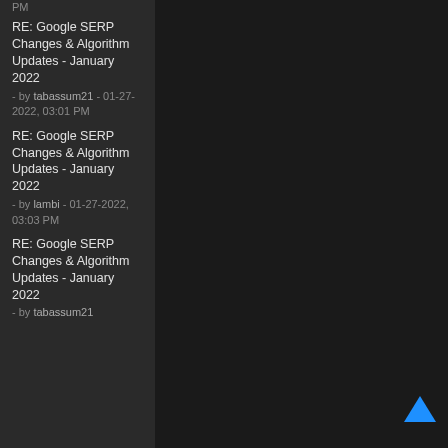PM
RE: Google SERP Changes & Algorithm Updates - January 2022 - by tabassum21 - 01-27-2022, 03:01 PM
RE: Google SERP Changes & Algorithm Updates - January 2022 - by lambi - 01-27-2022, 03:03 PM
RE: Google SERP Changes & Algorithm Updates - January 2022 - by tabassum21